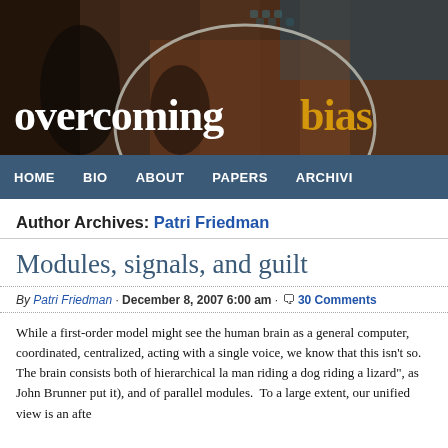[Figure (illustration): Overcoming Bias website header banner with decorative painting background (figures in mythological scene with rich colors) and text 'overcoming bias' with a gray arc above it. 'overcoming' in white serif font, 'bias' in golden/amber color.]
HOME  BIO  ABOUT  PAPERS  ARCHIVES
Author Archives: Patri Friedman
Modules, signals, and guilt
By Patri Friedman · December 8, 2007 6:00 am · 30 Comments
While a first-order model might see the human brain as a general computer, coordinated, centralized, acting with a single voice, we know that this isn't so.  The brain consists both of hierarchical la... man riding a dog riding a lizard", as John Brunner put it), and of parallel modules.  To a large extent, our unified view is an afte...